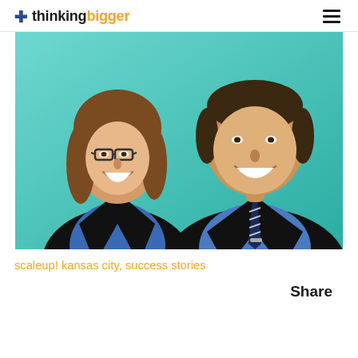thinking bigger
[Figure (photo): Professional headshot photo of two people — a woman on the left wearing glasses, a black blazer over a blue shirt, with shoulder-length brown hair and a smile; and a man on the right in a black suit with a blue shirt and striped tie, both smiling against a teal/turquoise background.]
scaleup! kansas city, success stories
Share